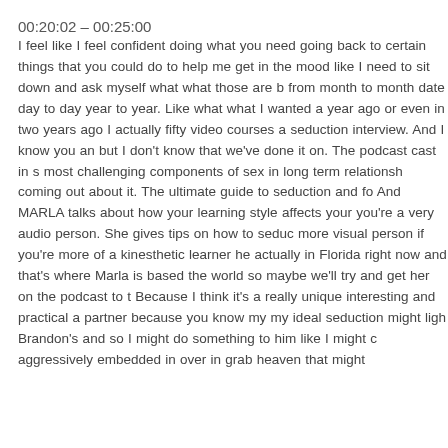00:20:02 – 00:25:00
I feel like I feel confident doing what you need going back to certain things that you could do to help me get in the mood like I need to sit down and ask myself what what those are b from month to month date day to day year to year. Like what what I wanted a year ago or even in two years ago I actually fifty video courses a seduction interview. And I know you an but I don't know that we've done it on. The podcast cast in s most challenging components of sex in long term relationsh coming out about it. The ultimate guide to seduction and fo And MARLA talks about how your learning style affects your you're a very audio person. She gives tips on how to seduc more visual person if you're more of a kinesthetic learner he actually in Florida right now and that's where Marla is based the world so maybe we'll try and get her on the podcast to t Because I think it's a really unique interesting and practical a partner because you know my my ideal seduction might ligh Brandon's and so I might do something to him like I might c aggressively embedded in over in grab heaven that might